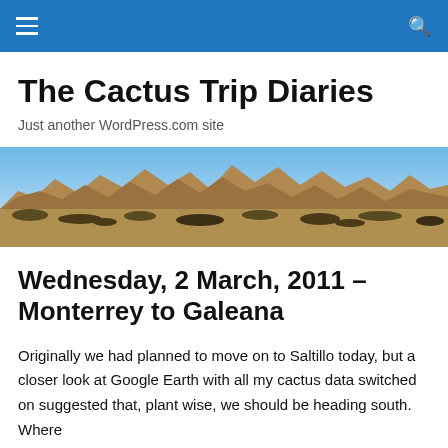The Cactus Trip Diaries — navigation bar
The Cactus Trip Diaries
Just another WordPress.com site
[Figure (photo): Panoramic desert landscape with rocky mountains and arid scrubland under a blue sky]
Wednesday, 2 March, 2011 – Monterrey to Galeana
Originally we had planned to move on to Saltillo today, but a closer look at Google Earth with all my cactus data switched on suggested that, plant wise, we should be heading south. Where